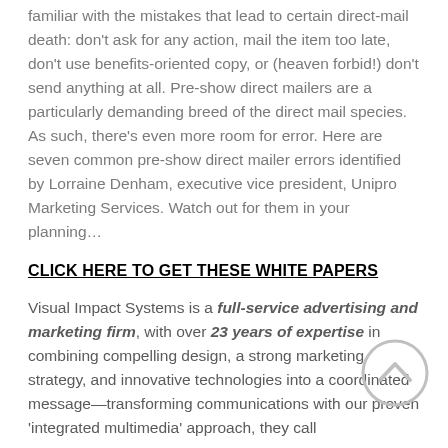familiar with the mistakes that lead to certain direct-mail death: don't ask for any action, mail the item too late, don't use benefits-oriented copy, or (heaven forbid!) don't send anything at all. Pre-show direct mailers are a particularly demanding breed of the direct mail species. As such, there's even more room for error. Here are seven common pre-show direct mailer errors identified by Lorraine Denham, executive vice president, Unipro Marketing Services. Watch out for them in your planning…
CLICK HERE TO GET THESE WHITE PAPERS
Visual Impact Systems is a full-service advertising and marketing firm, with over 23 years of expertise in combining compelling design, a strong marketing strategy, and innovative technologies into a coordinated message—transforming communications with our proven 'integrated multimedia' approach, they call